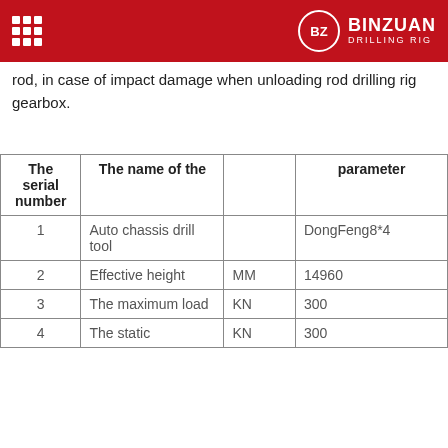BINZUAN DRILLING RIG
rod, in case of impact damage when unloading rod drilling rig gearbox.
| The serial number | The name of the |  | parameter |
| --- | --- | --- | --- |
| 1 | Auto chassis drill tool |  | DongFeng8*4 |
| 2 | Effective height | MM | 14960 |
| 3 | The maximum load | KN | 300 |
| 4 | The static | KN | 300 |